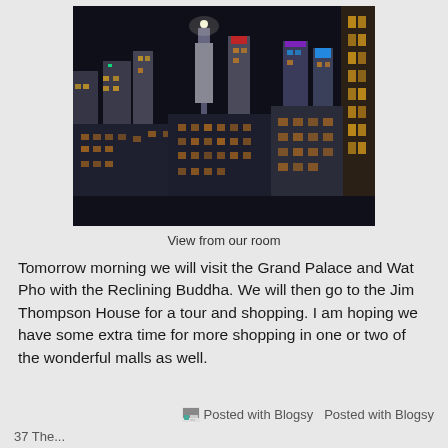[Figure (photo): Nighttime cityscape of Bangkok viewed from a hotel room window, showing illuminated skyscrapers and buildings against a dark sky]
View from our room
Tomorrow morning we will visit the Grand Palace and Wat Pho with the Reclining Buddha. We will then go to the Jim Thompson House for a tour and shopping. I am hoping we have some extra time for more shopping in one or two of the wonderful malls as well.
Posted with Blogsy  Posted with Blogsy
37 The...